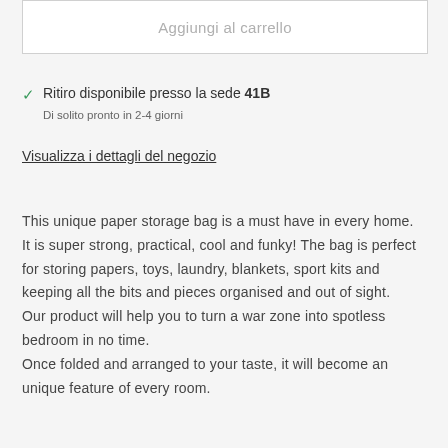Aggiungi al carrello
✓ Ritiro disponibile presso la sede 41B
Di solito pronto in 2-4 giorni
Visualizza i dettagli del negozio
This unique paper storage bag is a must have in every home.
It is super strong, practical, cool and funky! The bag is perfect for storing papers, toys, laundry, blankets, sport kits and keeping all the bits and pieces organised and out of sight.
Our product will help you to turn a war zone into spotless bedroom in no time.
Once folded and arranged to your taste, it will become an unique feature of every room.